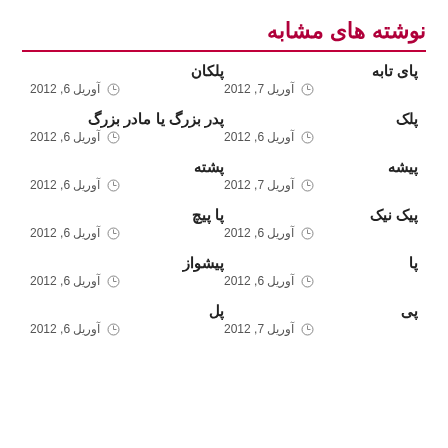نوشته های مشابه
پلکان
آوریل 6, 2012
پای تابه
آوریل 7, 2012
پدر بزرگ یا مادر بزرگ
آوریل 6, 2012
پلک
آوریل 6, 2012
پشته
آوریل 6, 2012
پیشه
آوریل 7, 2012
پا پیچ
آوریل 6, 2012
پیک نیک
آوریل 6, 2012
پیشواز
آوریل 6, 2012
پا
آوریل 6, 2012
پل
آوریل 6, 2012
پی
آوریل 7, 2012